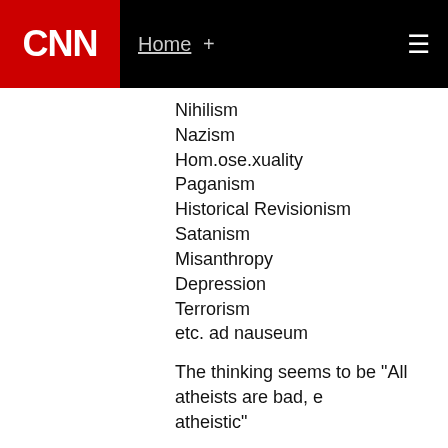CNN | Home +
Nihilism
Nazism
Hom.ose.xuality
Paganism
Historical Revisionism
Satanism
Misanthropy
Depression
Terrorism
etc. ad nauseum
The thinking seems to be "All atheists are bad, e atheistic"
December 20, 2011 at 1:22 pm |
captain america
You forgot ass hole canadians, I'd rather deal wit you know what you are up against. There's your